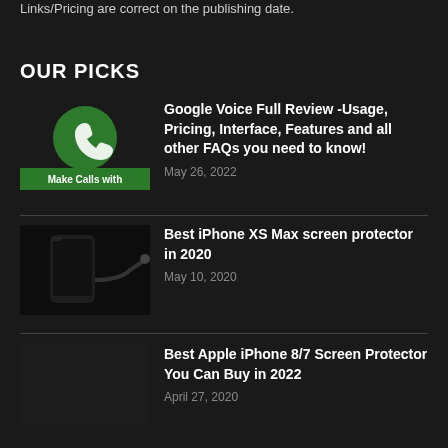Links/Pricing are correct on the publishing date.
OUR PICKS
[Figure (photo): Google Voice app thumbnail showing a green phone icon with 'Make Calls with' text on a dark background]
Google Voice Full Review -Usage, Pricing, Interface, Features and all other FAQs you need to know!
May 26, 2022
[Figure (photo): iPhone XS Max screen protector product photo, dark image showing phone and cable accessories]
Best iPhone XS Max screen protector in 2020
May 10, 2020
Best Apple iPhone 8/7 Screen Protector You Can Buy in 2022
April 27, 2020